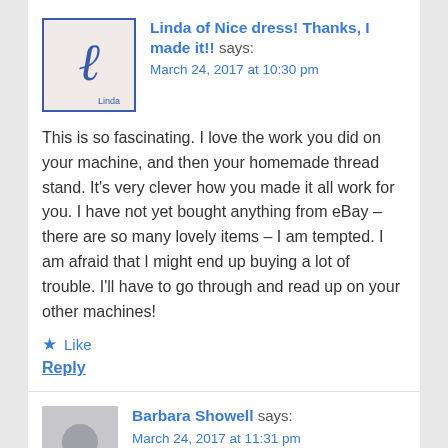Linda of Nice dress! Thanks, I made it!! says:
March 24, 2017 at 10:30 pm
This is so fascinating. I love the work you did on your machine, and then your homemade thread stand. It’s very clever how you made it all work for you. I have not yet bought anything from eBay – there are so many lovely items – I am tempted. I am afraid that I might end up buying a lot of trouble. I’ll have to go through and read up on your other machines!
Like
Reply
Barbara Showell says:
March 24, 2017 at 11:31 pm
Let’s get a bag of sand, a knitting needle, and a ruler,